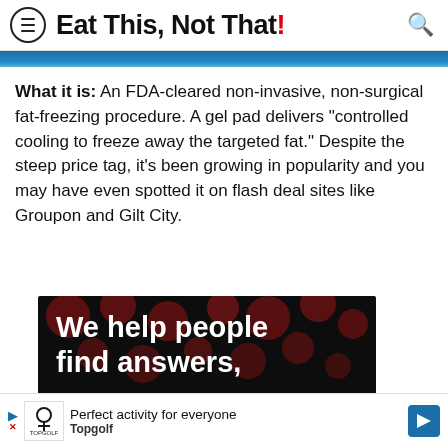Eat This, Not That!
[Figure (photo): Blue image strip at the top of article content]
What it is: An FDA-cleared non-invasive, non-surgical fat-freezing procedure. A gel pad delivers "controlled cooling to freeze away the targeted fat." Despite the steep price tag, it's been growing in popularity and you may have even spotted it on flash deal sites like Groupon and Gilt City.
[Figure (photo): Dark advertisement image with red bokeh dots and white bold text reading 'We help people find answers,']
[Figure (other): Bottom advertisement bar with Topgolf logo and text 'Perfect activity for everyone Topgolf']